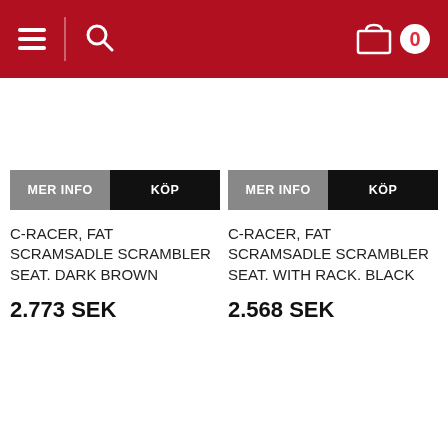Navigation bar with hamburger menu, search icon, and cart (0 items)
MER INFO  KÖP
C-RACER, FAT SCRAMSADLE SCRAMBLER SEAT. DARK BROWN
2.773 SEK
MER INFO  KÖP
C-RACER, FAT SCRAMSADLE SCRAMBLER SEAT. WITH RACK. BLACK
2.568 SEK